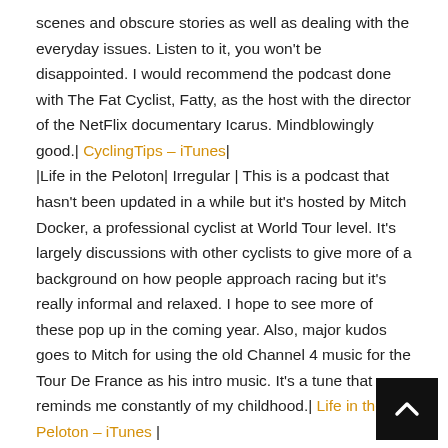scenes and obscure stories as well as dealing with the everyday issues. Listen to it, you won't be disappointed. I would recommend the podcast done with The Fat Cyclist, Fatty, as the host with the director of the NetFlix documentary Icarus. Mindblowingly good.| CyclingTips – iTunes| |Life in the Peloton| Irregular | This is a podcast that hasn't been updated in a while but it's hosted by Mitch Docker, a professional cyclist at World Tour level. It's largely discussions with other cyclists to give more of a background on how people approach racing but it's really informal and relaxed. I hope to see more of these pop up in the coming year. Also, major kudos goes to Mitch for using the old Channel 4 music for the Tour De France as his intro music. It's a tune that reminds me constantly of my childhood.| Life in the Peloton – iTunes |
Entertaining Podcasts: